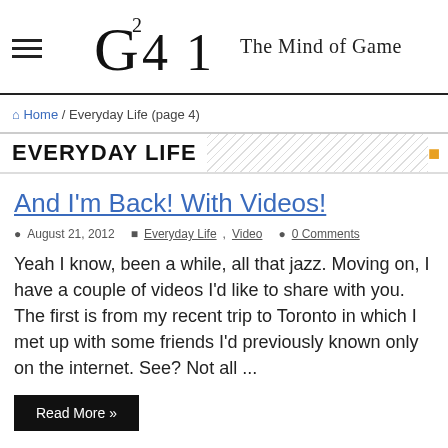[Figure (logo): G21 The Mind of Game logo with hamburger menu icon]
Home / Everyday Life (page 4)
EVERYDAY LIFE
And I'm Back! With Videos!
August 21, 2012  Everyday Life, Video  0 Comments
Yeah I know, been a while, all that jazz. Moving on, I have a couple of videos I'd like to share with you. The first is from my recent trip to Toronto in which I met up with some friends I'd previously known only on the internet. See? Not all ...
Read More »